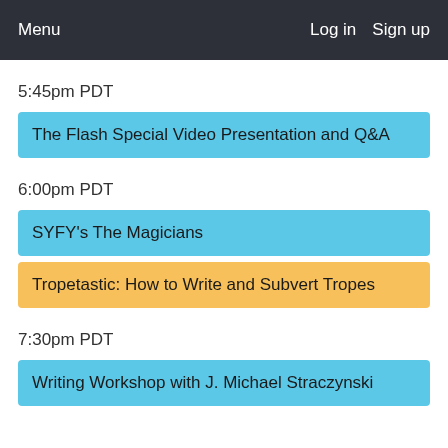Menu    Log in   Sign up
5:45pm PDT
The Flash Special Video Presentation and Q&A
6:00pm PDT
SYFY's The Magicians
Tropetastic: How to Write and Subvert Tropes
7:30pm PDT
Writing Workshop with J. Michael Straczynski